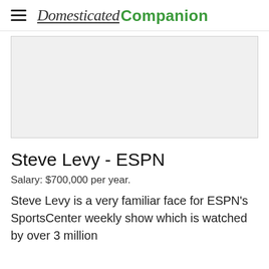Domesticated Companion
[Figure (other): Gray advertisement placeholder rectangle]
Steve Levy - ESPN
Salary: $700,000 per year.
Steve Levy is a very familiar face for ESPN's SportsCenter weekly show which is watched by over 3 million